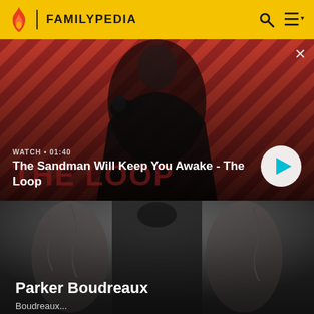FAMILYPEDIA
[Figure (screenshot): Video banner showing a dark-haired man in black clothing with a raven on his shoulder, against a red and black diagonal striped background. Text overlay: WATCH • 01:40. Title: The Sandman Will Keep You Awake - The Loop. A circular play button is on the right. A close (x) button is in the top right.]
[Figure (photo): Photo of a tattooed person with muscular arms wearing a black sleeveless top, shown from the chest up against a dark gray background. Name overlay: Parker Boudreaux]